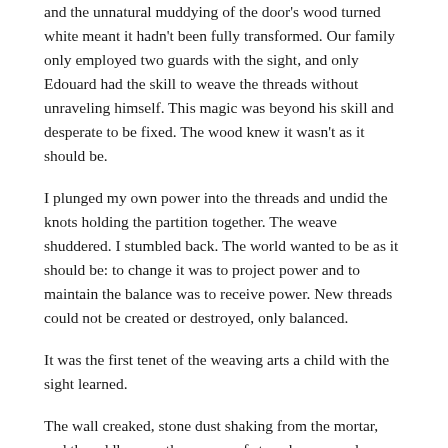and the unnatural muddying of the door's wood turned white meant it hadn't been fully transformed. Our family only employed two guards with the sight, and only Edouard had the skill to weave the threads without unraveling himself. This magic was beyond his skill and desperate to be fixed. The wood knew it wasn't as it should be.
I plunged my own power into the threads and undid the knots holding the partition together. The weave shuddered. I stumbled back. The world wanted to be as it should be: to change it was to project power and to maintain the balance was to receive power. New threads could not be created or destroyed, only balanced.
It was the first tenet of the weaving arts a child with the sight learned.
The wall creaked, stone dust shaking from the mortar, and the oddly smooth expanse of stone became a door again. It was weaker, speckled with holes and stretches of wood so thin the light shone through. Channeling too much power through an object with the noonday arts—living or not—